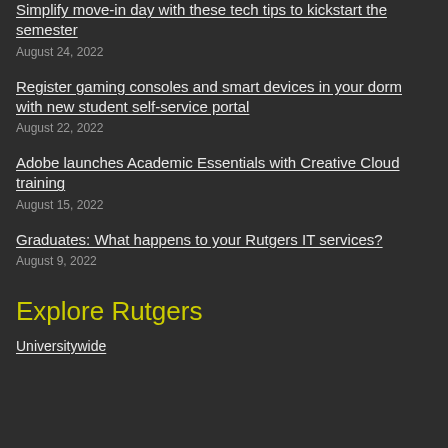Simplify move-in day with these tech tips to kickstart the semester
August 24, 2022
Register gaming consoles and smart devices in your dorm with new student self-service portal
August 22, 2022
Adobe launches Academic Essentials with Creative Cloud training
August 15, 2022
Graduates: What happens to your Rutgers IT services?
August 9, 2022
Explore Rutgers
Universitywide